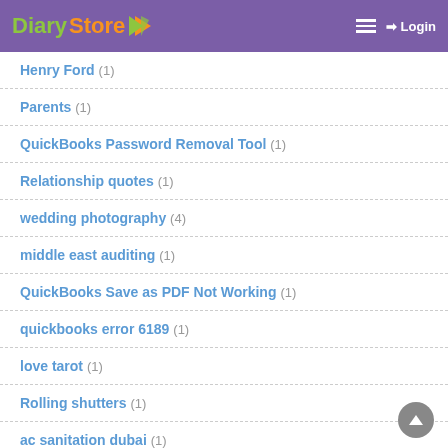Diary Store — Login
Henry Ford (1)
Parents (1)
QuickBooks Password Removal Tool (1)
Relationship quotes (1)
wedding photography (4)
middle east auditing (1)
QuickBooks Save as PDF Not Working (1)
quickbooks error 6189 (1)
love tarot (1)
Rolling shutters (1)
ac sanitation dubai (1)
Creativity (3)